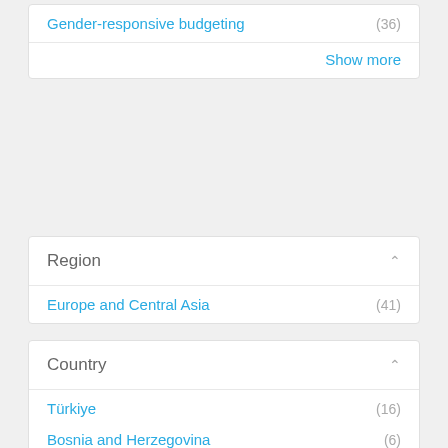Gender-responsive budgeting (36)
Show more
Region
Europe and Central Asia (41)
Country
Türkiye (16)
Bosnia and Herzegovina (6)
Albania (5)
Ukraine (5)
Kosovo (under UNSCR 1244) (4)
Kazakhstan (3)
North Macedonia (3)